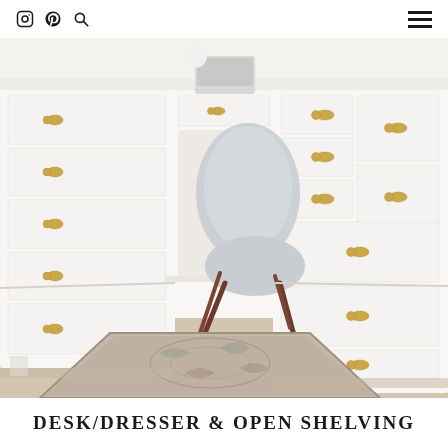Instagram Pinterest Search Navigation Menu
[Figure (photo): Interior photo of a white painted dresser and desk setup with gold/brass drawer pulls, a light gray modern chair with walnut legs, a laptop on the desk surface, and a patterned area rug on beige carpet flooring]
DESK/DRESSER & OPEN SHELVING